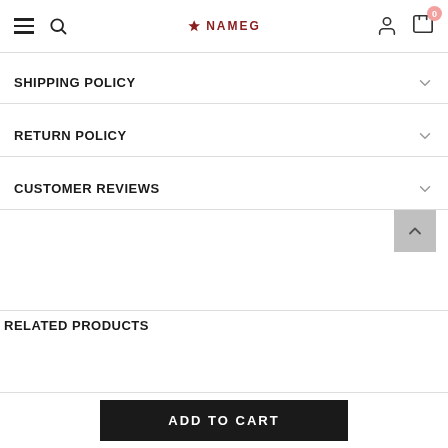NAMEG — navigation header with hamburger, search, logo, user, and cart icons
SHIPPING POLICY
RETURN POLICY
CUSTOMER REVIEWS
RELATED PRODUCTS
ADD TO CART